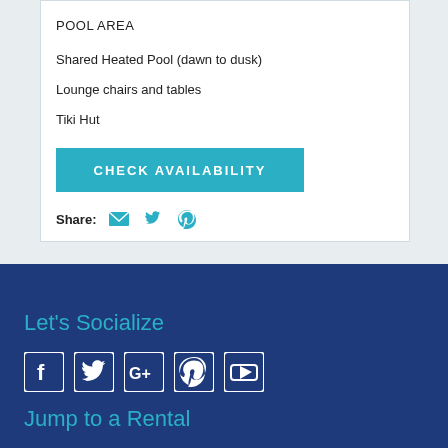POOL AREA
Shared Heated Pool (dawn to dusk)
Lounge chairs and tables
Tiki Hut
CHECK AVAILABILITY
Share:
Let's Socialize
[Figure (infographic): Social media icons: Facebook, Twitter, Google+, Pinterest, YouTube]
Jump to a Rental